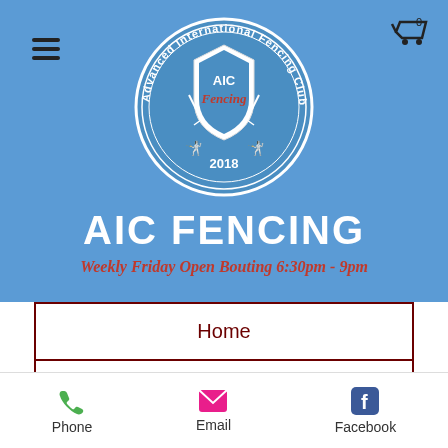[Figure (logo): AIC Fencing Club logo — circular badge with text 'Advanced International Fencing Club' around the rim, shield with 'AIC Fencing' in center, crossed foils, and '2018' at bottom, on blue background]
AIC FENCING
Weekly Friday Open Bouting 6:30pm - 9pm
Home
About Us
Our Te…
Phone   Email   Facebook